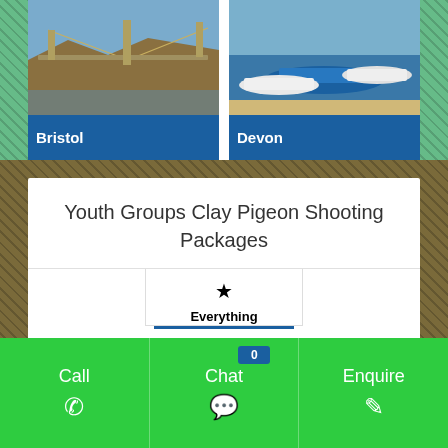[Figure (photo): Clifton Suspension Bridge aerial/side view with blue sky and gorge, labeled Bristol]
[Figure (photo): Boats on water near a beach/shore, labeled Devon]
Youth Groups Clay Pigeon Shooting Packages
Everything (tab with star icon)
Call | Chat 0 | Enquire (bottom navigation bar)